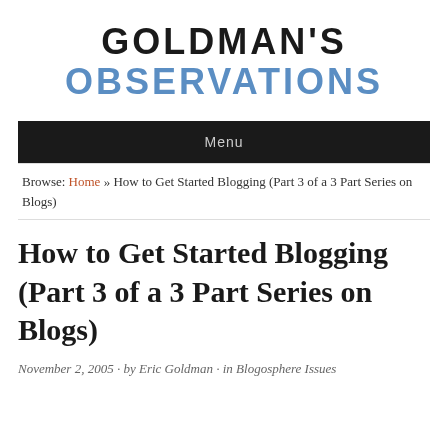GOLDMAN'S OBSERVATIONS
Menu
Browse: Home » How to Get Started Blogging (Part 3 of a 3 Part Series on Blogs)
How to Get Started Blogging (Part 3 of a 3 Part Series on Blogs)
November 2, 2005 · by Eric Goldman · in Blogosphere Issues